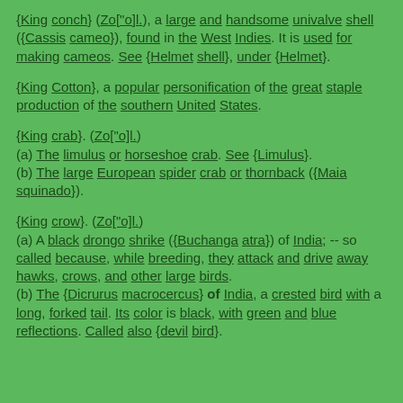{King conch} (Zo["o]l.), a large and handsome univalve shell ({Cassis cameo}), found in the West Indies. It is used for making cameos. See {Helmet shell}, under {Helmet}.
{King Cotton}, a popular personification of the great staple production of the southern United States.
{King crab}. (Zo["o]l.)
(a) The limulus or horseshoe crab. See {Limulus}.
(b) The large European spider crab or thornback ({Maia squinado}).
{King crow}. (Zo["o]l.)
(a) A black drongo shrike ({Buchanga atra}) of India; -- so called because, while breeding, they attack and drive away hawks, crows, and other large birds.
(b) The {Dicrurus macrocercus} of India, a crested bird with a long, forked tail. Its color is black, with green and blue reflections. Called also {devil bird}.